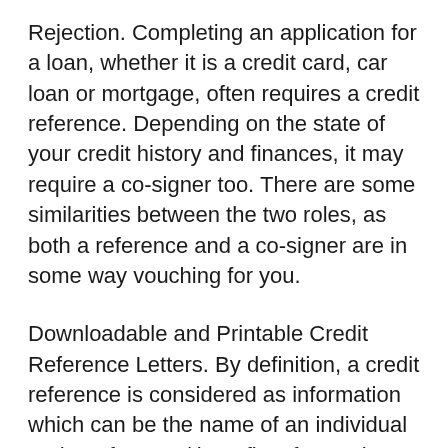Rejection. Completing an application for a loan, whether it is a credit card, car loan or mortgage, often requires a credit reference. Depending on the state of your credit history and finances, it may require a co-signer too. There are some similarities between the two roles, as both a reference and a co-signer are in some way vouching for you.
Downloadable and Printable Credit Reference Letters. By definition, a credit reference is considered as information which can be the name of an individual or that of Usage/ benefits of Sample Credit with everything with him like cash or Sample Credit Application Credit Reference on Rental Application.